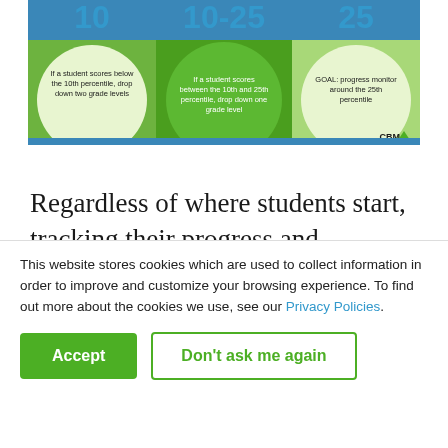[Figure (infographic): Educational infographic showing percentile thresholds: '10' in blue on green background, '10-25' in blue on darker green background, '25' in blue on light green background. Three circles below: 'If a student scores below the 10th percentile, drop down two grade levels', 'If a student scores between the 10th and 25th percentile, drop down one grade level', 'GOAL: progress monitor around the 25th percentile'. CBM logo at bottom right.]
Regardless of where students start, tracking their progress and continuing to challenge them are equally important. As Janice Fox says, “When we first started RTI in Rutherford County, teachers would say, 'Okay, you’re scoring at the 10th
This website stores cookies which are used to collect information in order to improve and customize your browsing experience. To find out more about the cookies we use, see our Privacy Policies.